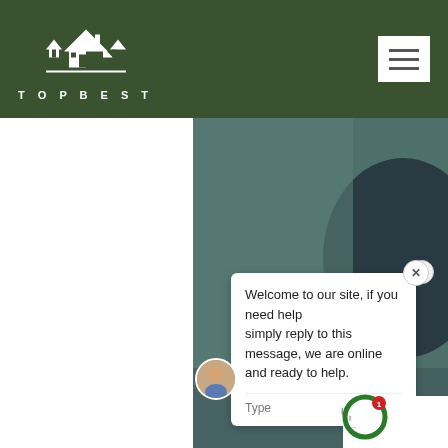[Figure (logo): TOPBEST real estate logo with house icon on dark green header background]
[Figure (screenshot): Website screenshot showing TOPBEST branding with dark green header, hamburger menu, left white panel, right teal/dark image panel with a live chat popup saying: Welcome to our site, if you need helpsimply reply to this message, we are online and ready to help. Chat input area with Type label and emoji/attachment icons. Avatar of person at bottom. Google privacy notification circle with badge count 1.]